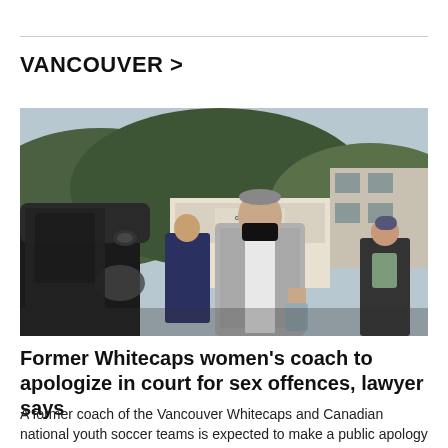VANCOUVER >
[Figure (photo): A man wearing a grey blazer and black face mask walking near a dark car outdoors, with a truck bearing 'Oil Tank' branding visible in the background, and another person in dark clothing visible to the right.]
Former Whitecaps women's coach to apologize in court for sex offences, lawyer says
A former coach of the Vancouver Whitecaps and Canadian national youth soccer teams is expected to make a public apology today in court for sex crimes.